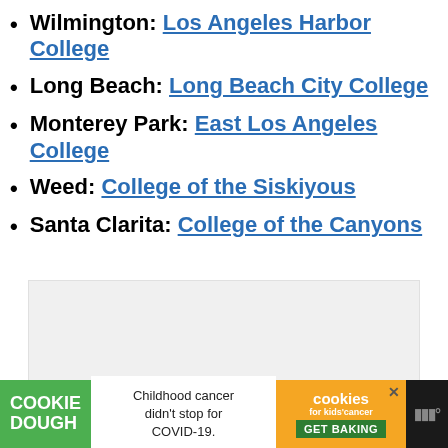Wilmington: Los Angeles Harbor College
Long Beach: Long Beach City College
Monterey Park: East Los Angeles College
Weed: College of the Siskiyous
Santa Clarita: College of the Canyons
[Figure (other): Gray placeholder advertisement box]
COOKIE DOUGH | Childhood cancer didn't stop for COVID-19. | cookies for kids' cancer GET BAKING | W°